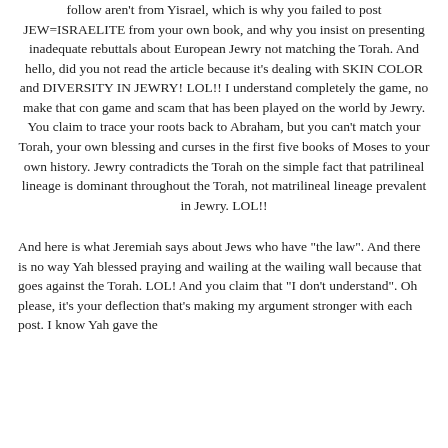follow aren't from Yisrael, which is why you failed to post JEW=ISRAELITE from your own book, and why you insist on presenting inadequate rebuttals about European Jewry not matching the Torah. And hello, did you not read the article because it's dealing with SKIN COLOR and DIVERSITY IN JEWRY! LOL!! I understand completely the game, no make that con game and scam that has been played on the world by Jewry. You claim to trace your roots back to Abraham, but you can't match your Torah, your own blessing and curses in the first five books of Moses to your own history. Jewry contradicts the Torah on the simple fact that patrilineal lineage is dominant throughout the Torah, not matrilineal lineage prevalent in Jewry. LOL!!
And here is what Jeremiah says about Jews who have "the law". And there is no way Yah blessed praying and wailing at the wailing wall because that goes against the Torah. LOL! And you claim that "I don't understand". Oh please, it's your deflection that's making my argument stronger with each post. I know Yah gave the